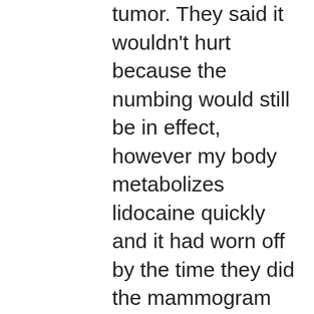tumor. They said it wouldn't hurt because the numbing would still be in effect, however my body metabolizes lidocaine quickly and it had worn off by the time they did the mammogram pictures. It was a quite painful and traumatic experience. I went to the dressing room to change back into my shirt with a tiny little “ice pack” that was barely cold and cried. I was already getting good at crying in dressing rooms. I bruised pretty badly and was very sore. In the time between my biopsy and my first surgery, which was about a month, the site of the tumor and biopsy was